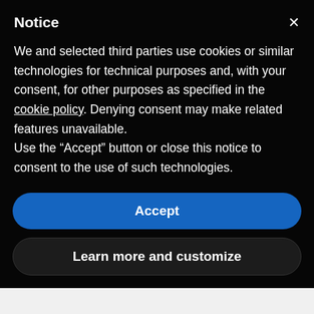Notice
We and selected third parties use cookies or similar technologies for technical purposes and, with your consent, for other purposes as specified in the cookie policy. Denying consent may make related features unavailable.
Use the “Accept” button or close this notice to consent to the use of such technologies.
Accept
Learn more and customize
8. Alexandria says:
July 2, 2010 at 9:39 am
I’m not sure if one will be enough Ferdinand! ☺